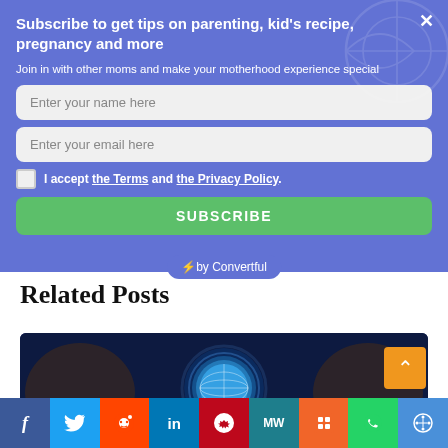Subscribe to get tips on parenting, kid's recipe, pregnancy and more
Join in with other moms and make your motherhood experience special
Enter your name here
Enter your email here
I accept the Terms and the Privacy Policy.
SUBSCRIBE
[Figure (screenshot): ⚡by Convertful badge]
Related Posts
[Figure (photo): Globe held in hands against dark blue background]
[Figure (infographic): Social sharing bar with Facebook, Twitter, Reddit, LinkedIn, Pinterest, MeWe, Mix, WhatsApp, and share icons]